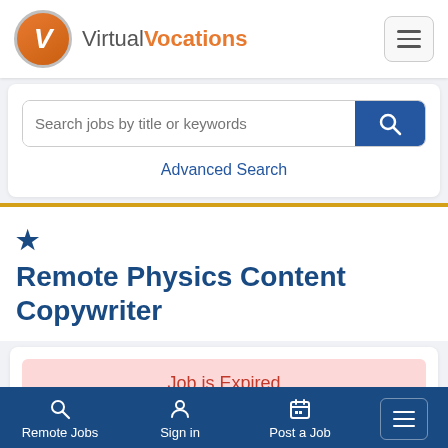Virtual Vocations
Search jobs by title or keywords
Advanced Search
★ Remote Physics Content Copywriter
Job is Expired
Remote Jobs | Sign in | Post a Job